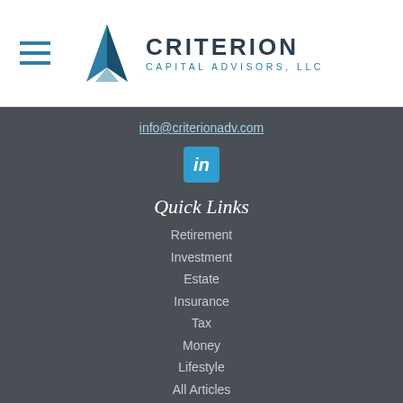Criterion Capital Advisors, LLC
info@criterionadv.com
[Figure (logo): LinkedIn icon - blue square with white italic 'in' text]
Quick Links
Retirement
Investment
Estate
Insurance
Tax
Money
Lifestyle
All Articles
All Videos
All Calculators
All Presentations
The content is developed from sources believed to be providing accurate information. The information in this material is not intended as tax or legal advice. Please consult legal or tax professionals for specific information regarding your